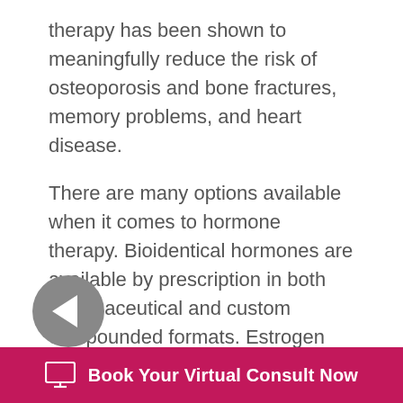therapy has been shown to meaningfully reduce the risk of osteoporosis and bone fractures, memory problems, and heart disease.
There are many options available when it comes to hormone therapy. Bioidentical hormones are available by prescription in both pharmaceutical and custom compounded formats. Estrogen therapy has been shown to be both safer and more effective when delivered through the skin in a “transdermal” cream or patch. Vaginal estrogen therapy as the added benefit of protecting the vagina and lower urinary tract from the degenerative changes that occur in low estrogen states. While pharmaceutical estrogen patches [continuing] ng both ostradi[continuing]
[Figure (other): Grey circular back navigation button with white left-pointing arrow]
Book Your Virtual Consult Now